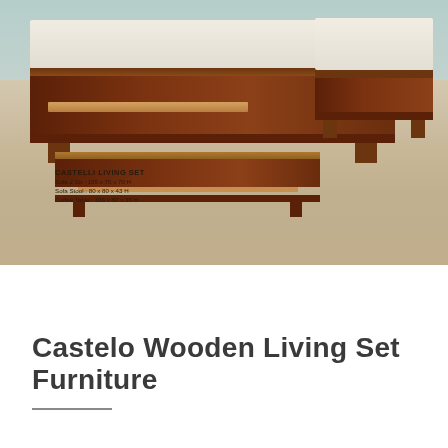[Figure (photo): Photograph of Castelo wooden living room furniture set including a 2-seat sofa with cream cushions, a wooden coffee table with lower shelf, and a sofa stool (ottoman) with cream cushion, all in dark walnut-toned wood, on a beige carpet with light blue-grey wall background.]
CASTELLI LIVING SET
Sofa 2 Str : 195 x 70 x 70 H
Sofa Stool : 80 x 80 x 43 H
Coffee Table : 106 x 80 x 35 H
Castelo Wooden Living Set Furniture